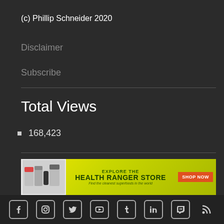(c) Phillip Schneider 2020
Disclaimer
Subscribe
Total Views
168,423
[Figure (infographic): Health Ranger Store advertisement banner with yellow background, product images, text 'EXPLORE THE HEALTH RANGER STORE Find the cleanest superfoods in the world' and orange SHOP NOW button]
Social media icons: Facebook, Instagram, Twitter, YouTube, Tumblr, LinkedIn, Twitch, RSS